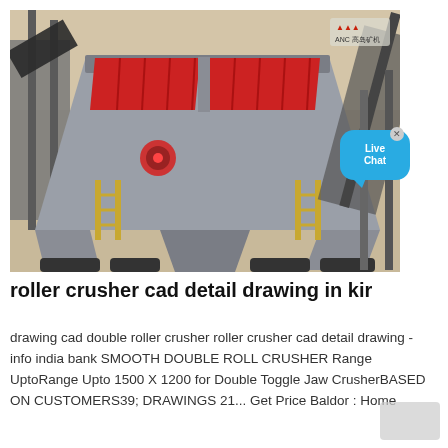[Figure (photo): 3D render of an industrial roller crusher / vibrating screen machine with red panels and grey structure, shown in an outdoor mining/quarrying setting. Branding logo visible in top right: ANC company mark.]
roller crusher cad detail drawing in kir
drawing cad double roller crusher roller crusher cad detail drawing - info india bank SMOOTH DOUBLE ROLL CRUSHER Range UptoRange Upto 1500 X 1200 for Double Toggle Jaw CrusherBASED ON CUSTOMERS39; DRAWINGS 21... Get Price Baldor : Home